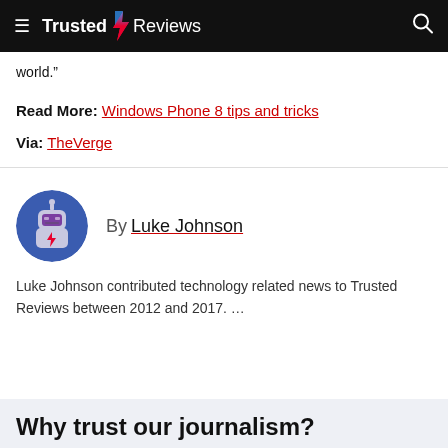Trusted Reviews
world."
Read More: Windows Phone 8 tips and tricks
Via: TheVerge
[Figure (illustration): Robot avatar icon for author Luke Johnson — a cartoon robot with a purple screen face and red lightning bolt on chest, on a blue circular background]
By Luke Johnson
Luke Johnson contributed technology related news to Trusted Reviews between 2012 and 2017. …
Why trust our journalism?